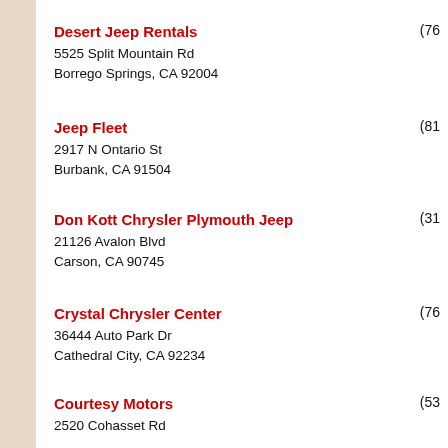Desert Jeep Rentals
5525 Split Mountain Rd
Borrego Springs, CA 92004
(76…
Jeep Fleet
2917 N Ontario St
Burbank, CA 91504
(81…
Don Kott Chrysler Plymouth Jeep
21126 Avalon Blvd
Carson, CA 90745
(31…
Crystal Chrysler Center
36444 Auto Park Dr
Cathedral City, CA 92234
(76…
Courtesy Motors
2520 Cohasset Rd
(53…